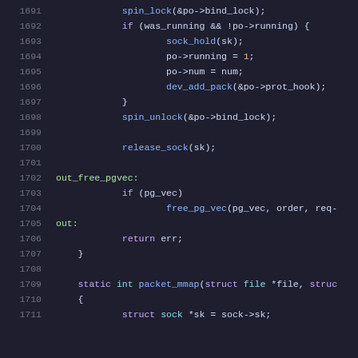[Figure (screenshot): Source code listing showing C code for packet socket ring buffer setup, lines 1691-1711. Dark theme code editor with syntax highlighting. Functions include spin_lock, sock_hold, dev_add_pack, spin_unlock, release_sock, out_free_pgvec label, free_pg_vec call, out label, return err, closing brace, static int packet_mmap function declaration, and struct sock *sk = sock->sk.]